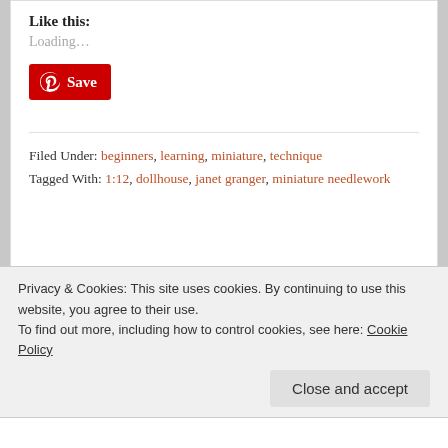Like this:
Loading...
[Figure (other): Pinterest Save button with Pinterest logo icon]
Filed Under: beginners, learning, miniature, technique
Tagged With: 1:12, dollhouse, janet granger, miniature needlework
Leave a Reply
Your email address will not be published. Required fields
Privacy & Cookies: This site uses cookies. By continuing to use this website, you agree to their use.
To find out more, including how to control cookies, see here: Cookie Policy
Close and accept